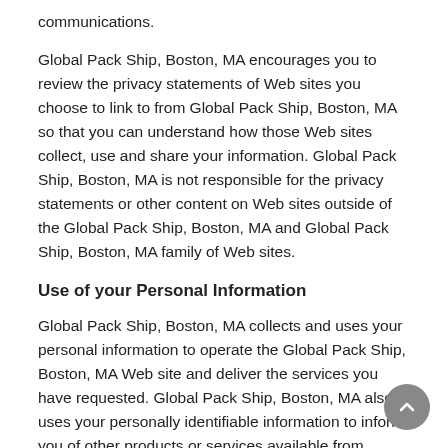communications.
Global Pack Ship, Boston, MA encourages you to review the privacy statements of Web sites you choose to link to from Global Pack Ship, Boston, MA so that you can understand how those Web sites collect, use and share your information. Global Pack Ship, Boston, MA is not responsible for the privacy statements or other content on Web sites outside of the Global Pack Ship, Boston, MA and Global Pack Ship, Boston, MA family of Web sites.
Use of your Personal Information
Global Pack Ship, Boston, MA collects and uses your personal information to operate the Global Pack Ship, Boston, MA Web site and deliver the services you have requested. Global Pack Ship, Boston, MA also uses your personally identifiable information to inform you of other products or services available from Global Pack Ship, Boston, MA and its affiliates. Global Pack Ship, Boston, MA may also contact you via surveys to conduct research about your opinion of current services or of potential new services that may be offered.
Global Pack Ship, Boston, MA does not sell, rent or lease its customer lists to third parties. Global Pack Ship, Boston, MA